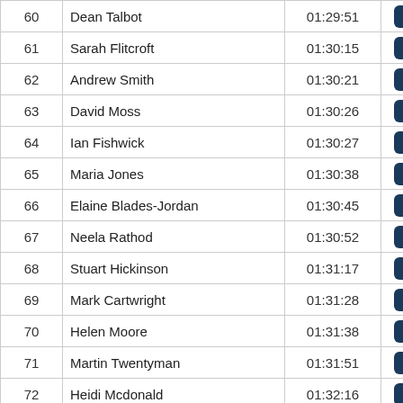| # | Name | Time |  |
| --- | --- | --- | --- |
| 60 | Dean Talbot | 01:29:51 | Results |
| 61 | Sarah Flitcroft | 01:30:15 | Results |
| 62 | Andrew Smith | 01:30:21 | Results |
| 63 | David Moss | 01:30:26 | Results |
| 64 | Ian Fishwick | 01:30:27 | Results |
| 65 | Maria Jones | 01:30:38 | Results |
| 66 | Elaine Blades-Jordan | 01:30:45 | Results |
| 67 | Neela Rathod | 01:30:52 | Results |
| 68 | Stuart Hickinson | 01:31:17 | Results |
| 69 | Mark Cartwright | 01:31:28 | Results |
| 70 | Helen Moore | 01:31:38 | Results |
| 71 | Martin Twentyman | 01:31:51 | Results |
| 72 | Heidi Mcdonald | 01:32:16 | Results |
| 73 | Aleisha Hibbert | 01:32:16 | Results |